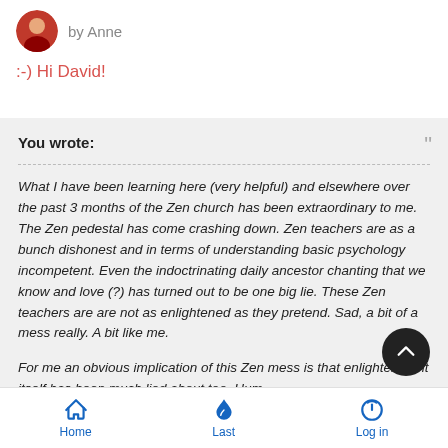by Anne
:-)  Hi David!
You wrote:
What I have been learning here (very helpful) and elsewhere over the past 3 months of the Zen church has been extraordinary to me. The Zen pedestal has come crashing down. Zen teachers are as a bunch dishonest and in terms of understanding basic psychology incompetent. Even the indoctrinating daily ancestor chanting that we know and love (?) has turned out to be one big lie. These Zen teachers are are not as enlightened as they pretend. Sad, a bit of a mess really. A bit like me.

For me an obvious implication of this Zen mess is that enlightenment itself has been much lied about too. Hum.
Home   Last   Log in